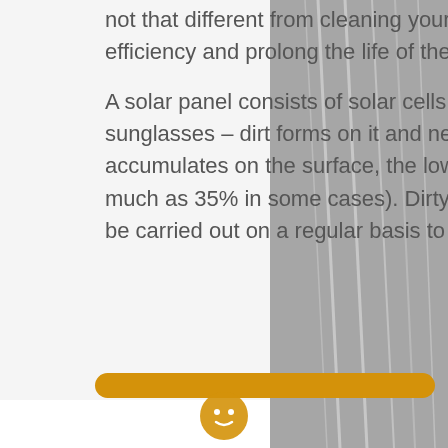not that different from cleaning your solar panels. A clean solar panel will improve efficiency and prolong the life of the panels.
A solar panel consists of solar cells with a protective glass panel on top, and just like your sunglasses – dirt forms on it and need to be cleaned from time to time. The more dirt accumulates on the surface, the lower amount of electricity they can generate (by as much as 35% in some cases). Dirty solar panels are by far the easiest to fix but it should be carried out on a regular basis to maintain optimum efficiency.
[Figure (photo): Background photo of solar panels visible on the right side of the page, shown in grayscale/grey tones with panel lines visible.]